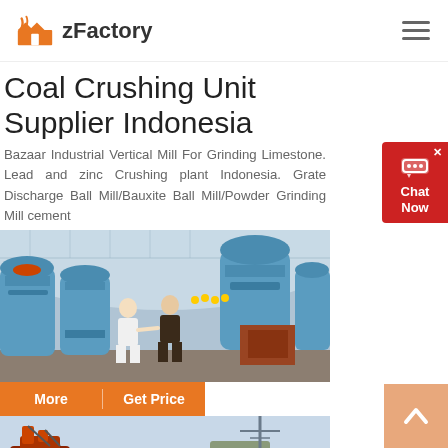zFactory
Coal Crushing Unit Supplier Indonesia
Bazaar Industrial Vertical Mill For Grinding Limestone. Lead and zinc Crushing plant Indonesia. Grate Discharge Ball Mill/Bauxite Ball Mill/Powder Grinding Mill cement
[Figure (photo): Two men standing in a large industrial warehouse full of blue grinding/milling machines under an arched roof]
[Figure (photo): Industrial machinery with red and rust-colored components outdoors against a sky background]